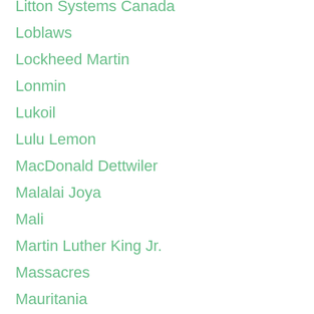Litton Systems Canada
Loblaws
Lockheed Martin
Lonmin
Lukoil
Lulu Lemon
MacDonald Dettwiler
Malalai Joya
Mali
Martin Luther King Jr.
Massacres
Mauritania
McCains
Media Manipulation
Melkior Resources
MERCOSUR